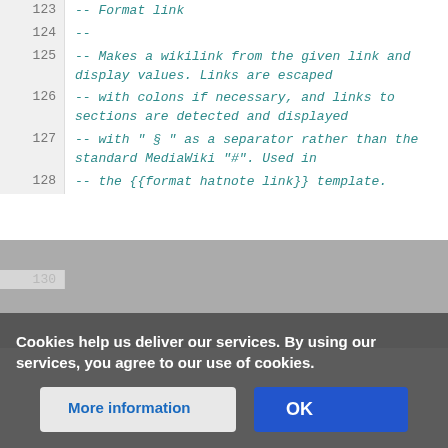123  -- Format link
124  --
125  -- Makes a wikilink from the given link and display values. Links are escaped
126  -- with colons if necessary, and links to sections are detected and displayed
127  -- with " § " as a separator rather than the standard MediaWiki "#". Used in
128  -- the {{format hatnote link}} template.
Cookies help us deliver our services. By using our services, you agree to our use of cookies.
More information | OK